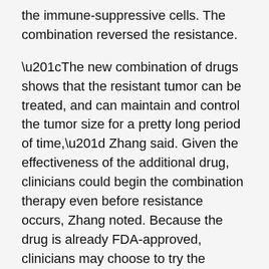the immune-suppressive cells. The combination reversed the resistance.
“The new combination of drugs shows that the resistant tumor can be treated, and can maintain and control the tumor size for a pretty long period of time,” Zhang said. Given the effectiveness of the additional drug, clinicians could begin the combination therapy even before resistance occurs, Zhang noted. Because the drug is already FDA-approved, clinicians may choose to try the protocol now.
Single-cell profiling could lead to additional discoveries, said Michael Pfrender, director of the Genomics and Bioinformatics Core Facility and professor in the Department of Biological Sciences.
“The applications of single-cell approaches to human disease and development are profound,” he said. “This technology is rapidly becoming an essential feature in the